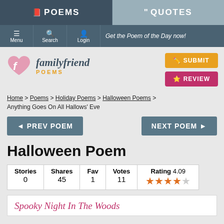POEMS | QUOTES
Menu | Search | Login | Get the Poem of the Day now!
[Figure (logo): familyfriend POEMS logo with pink heart icon]
SUBMIT
REVIEW
Home > Poems > Holiday Poems > Halloween Poems > Anything Goes On All Hallows' Eve
◄ PREV POEM    NEXT POEM ►
Halloween Poem
| Stories | Shares | Fav | Votes | Rating 4.09 |
| --- | --- | --- | --- | --- |
| 0 | 45 | 1 | 11 | ★★★★☆ |
Spooky Night In The Woods